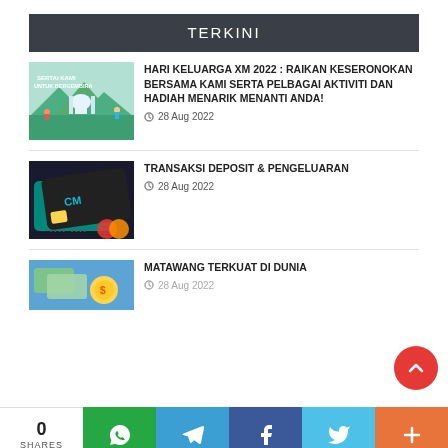TERKINI
HARI KELUARGA XM 2022 : RAIKAN KESERONOKAN BERSAMA KAMI SERTA PELBAGAI AKTIVITI DAN HADIAH MENARIK MENANTI ANDA!
28 Aug 2022
TRANSAKSI DEPOSIT & PENGELUARAN
28 Aug 2022
MATAWANG TERKUAT DI DUNIA
28 Aug 2022
0 SHARES